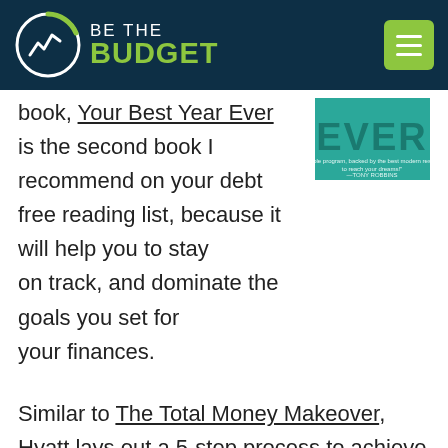BE THE BUDGET
[Figure (logo): Be The Budget logo with circular icon and green hamburger menu button]
book, Your Best Year Ever is the second book I recommend on your debt free reading list, because it will help you to stay on track, and dominate the goals you set for your finances.
[Figure (photo): Book cover showing 'EVER' text in teal/green color]
Similar to The Total Money Makeover, Hyatt lays out a 5-step process to achieve your most important goals. This isn't your average motivational book, either. It is genuine, unique, and very applicable.